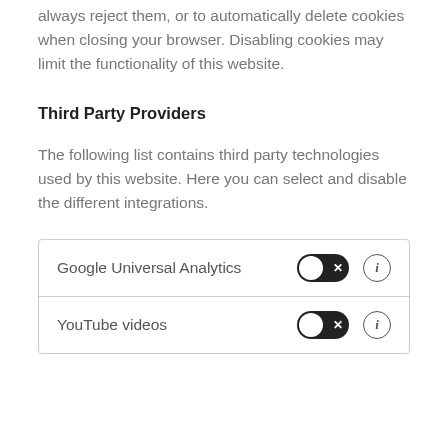always reject them, or to automatically delete cookies when closing your browser. Disabling cookies may limit the functionality of this website.
Third Party Providers
The following list contains third party technologies used by this website. Here you can select and disable the different integrations.
| Service | Toggle | Info |
| --- | --- | --- |
| Google Universal Analytics | toggle-off | info |
| YouTube videos | toggle-off | info |